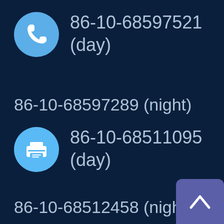[Figure (infographic): Phone icon (blue circle with white telephone handset) next to phone numbers: 86-10-68597521 (day) and 86-10-68597289 (night)]
86-10-68597521 (day)
86-10-68597289 (night)
[Figure (infographic): Printer/fax icon (light blue circle with white printer) next to fax numbers: 86-10-68511095 (day) and 86-10-68512458 (night)]
86-10-68511095 (day)
86-10-68512458 (night)